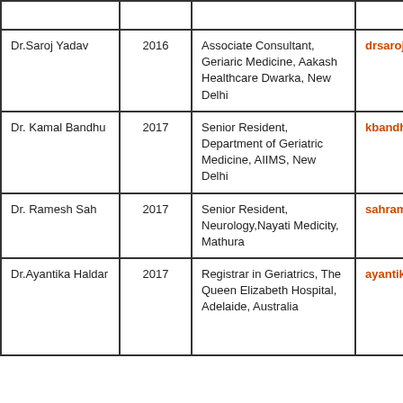| Name | Year | Position | Email |
| --- | --- | --- | --- |
| Dr.Saroj Yadav | 2016 | Associate Consultant, Geriaric Medicine, Aakash Healthcare Dwarka, New Delhi | drsarojkr17@gmail.com |
| Dr. Kamal Bandhu | 2017 | Senior Resident, Department of Geriatric Medicine, AIIMS, New Delhi | kbandhu1@gmail.com |
| Dr. Ramesh Sah | 2017 | Senior Resident, Neurology,Nayati Medicity, Mathura | sahramesh7@gmail.com |
| Dr.Ayantika Haldar | 2017 | Registrar in Geriatrics, The Queen Elizabeth Hospital, Adelaide, Australia | ayantikahaldar@gmail.com |